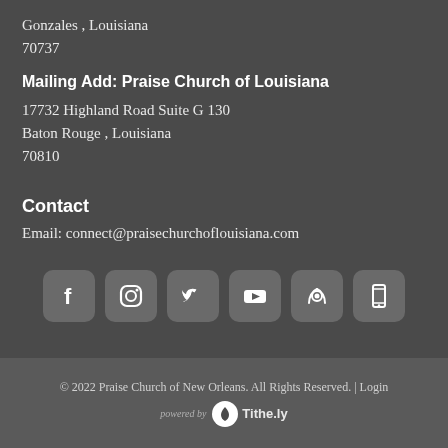Gonzales , Louisiana
70737
Mailing Add: Praise Church of Louisiana
17732 Highland Road Suite G 130
Baton Rouge , Louisiana
70810
Contact
Email:  connect@praisechurchoflouisiana.com
[Figure (infographic): Six social media icon buttons in rounded square containers: Facebook, Instagram, Twitter, YouTube, podcast/radio, mobile device]
© 2022 Praise Church of New Orleans. All Rights Reserved. | Login
powered by  Tithe.ly